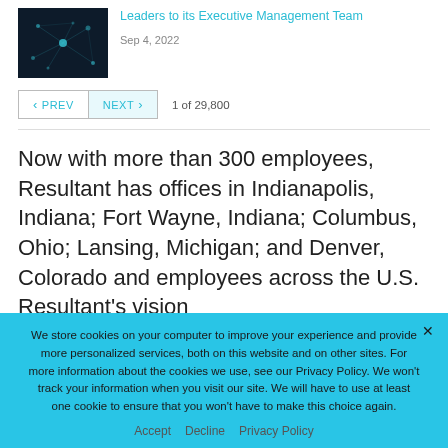[Figure (photo): Dark abstract network/technology image used as article thumbnail]
Leaders to its Executive Management Team
Sep 4, 2022
< PREV   NEXT >   1 of 29,800
Now with more than 300 employees, Resultant has offices in Indianapolis, Indiana; Fort Wayne, Indiana; Columbus, Ohio; Lansing, Michigan; and Denver, Colorado and employees across the U.S. Resultant's vision
We store cookies on your computer to improve your experience and provide more personalized services, both on this website and on other sites. For more information about the cookies we use, see our Privacy Policy. We won't track your information when you visit our site. We will have to use at least one cookie to ensure that you won't have to make this choice again.
Accept   Decline   Privacy Policy